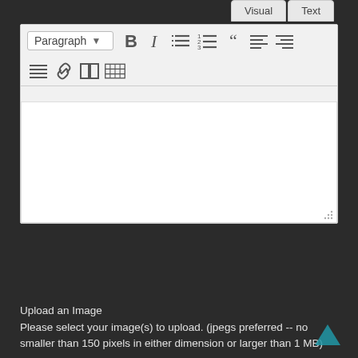[Figure (screenshot): WordPress visual editor toolbar with Paragraph dropdown, Bold, Italic, list, numbered list, blockquote, alignment, and second row with justify, link, table, and media icons. The editor content area is empty white. Visual and Text tabs appear at top right.]
Upload an Image
Please select your image(s) to upload. (jpegs preferred -- no smaller than 150 pixels in either dimension or larger than 1 MB)